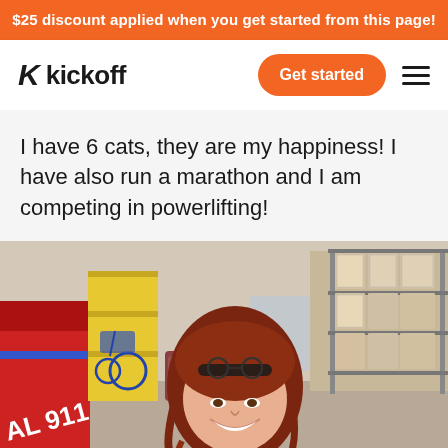$25 discount applied when you get started from this page!
[Figure (logo): Kickoff app logo with stylized K icon and word 'kickoff']
I have 6 cats, they are my happiness! I have also run a marathon and I am competing in powerlifting!
[Figure (photo): A smiling woman with red/auburn hair and sunglasses on her head, standing in what appears to be a medical supply storage area. In the background is a red vehicle with 'AL 911' visible, a wheelchair, yellow shelving, and stacks of medical supply boxes.]